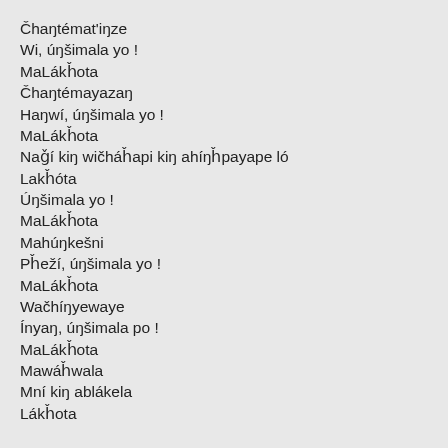Čhaŋtémat'iŋze
Wi, úŋšimala yo !
MaLákȟota
Čhaŋtémayazaŋ
Haŋwí, úŋšimala yo !
MaLákȟota
Naǧí kiŋ wičháȟapi kiŋ ahíŋȟpayape ló
Lakȟóta
Úŋšimala yo !
MaLákȟota
Mahúŋkešni
Pȟeží, úŋšimala yo !
MaLákȟota
Wačhíŋyewaye
Ínyaŋ, úŋšimala po !
MaLákȟota
Mawáȟwala
Mní kiŋ ablákela
Lákȟota